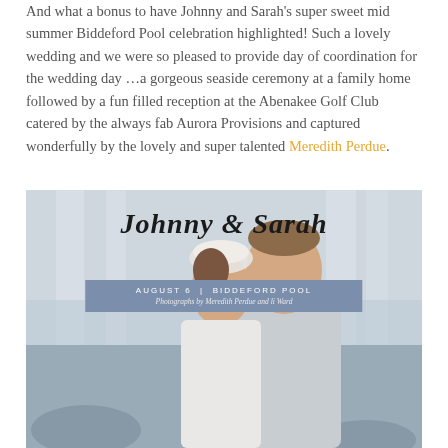And what a bonus to have Johnny and Sarah's super sweet mid summer Biddeford Pool celebration highlighted! Such a lovely wedding and we were so pleased to provide day of coordination for the wedding day …a gorgeous seaside ceremony at a family home followed by a fun filled reception at the Abenakee Golf Club catered by the always fab Aurora Provisions and captured wonderfully by the lovely and super talented Meredith Perdue.
[Figure (photo): Wedding photo of Johnny and Sarah with script overlay text 'Johnny & Sarah', blue banner with 'AUGUST 6 | BIDDEFORD POOL' and 'Photographs by Meredith Perdue and li Ward'. Shows bride kissing groom on cheek, groom in light suit smiling.]